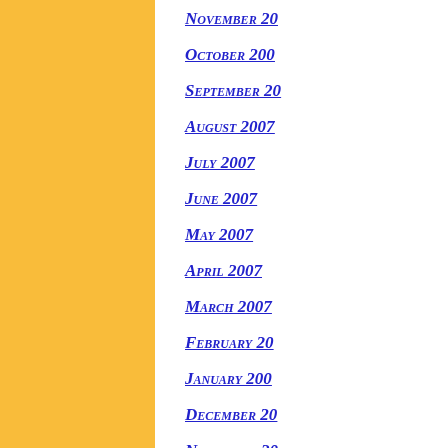[Figure (other): Yellow vertical bar on left side of page]
November 200...
October 200...
September 20...
August 2007
July 2007
June 2007
May 2007
April 2007
March 2007
February 200...
January 200...
December 20...
November 20...